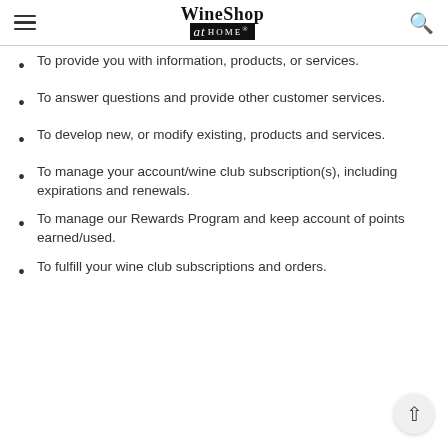WineShop At Home
To provide you with information, products, or services.
To answer questions and provide other customer services.
To develop new, or modify existing, products and services.
To manage your account/wine club subscription(s), including expirations and renewals.
To manage our Rewards Program and keep account of points earned/used.
To fulfill your wine club subscriptions and orders.